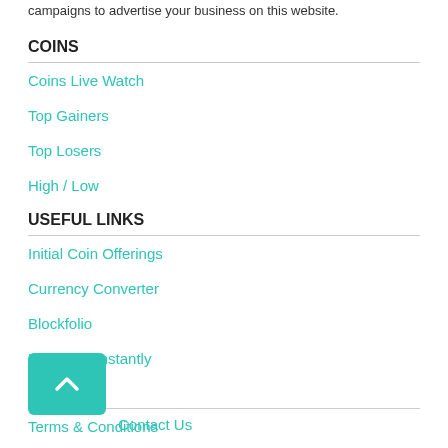campaigns to advertise your business on this website.
COINS
Coins Live Watch
Top Gainers
Top Losers
High / Low
USEFUL LINKS
Initial Coin Offerings
Currency Converter
Blockfolio
Buy / Sell Instantly
MORE
Terms & Conditions
Privacy Policy
Contact Us
FAQs